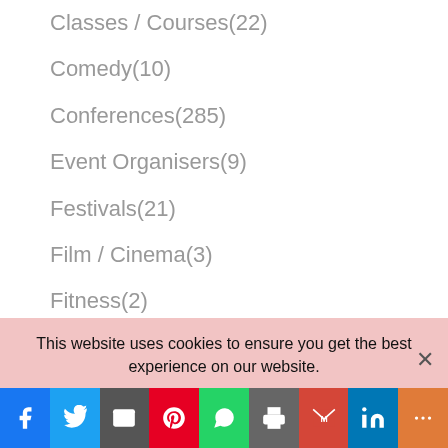Classes / Courses(22)
Comedy(10)
Conferences(285)
Event Organisers(9)
Festivals(21)
Film / Cinema(3)
Fitness(2)
Food / Wine(6)
Fundraisers(2)
Galeries / Art(15)
Health(13)
This website uses cookies to ensure you get the best experience on our website.
[Figure (other): Social sharing bar with buttons: Facebook, Twitter, Email, Pinterest, WhatsApp, Print, Gmail, LinkedIn, More]